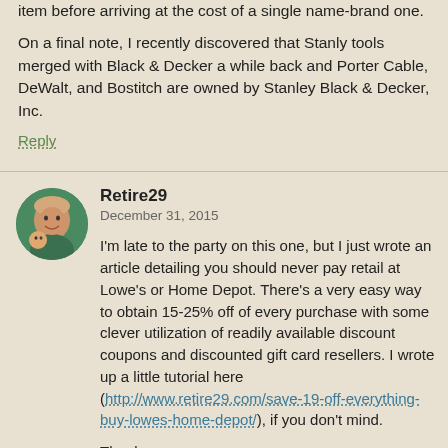Their prices are so low you can usually buy 4-5 of the item before arriving at the cost of a single name-brand one.
On a final note, I recently discovered that Stanly tools merged with Black & Decker a while back and Porter Cable, DeWalt, and Bostitch are owned by Stanley Black & Decker, Inc.
Reply
Retire29
December 31, 2015
I'm late to the party on this one, but I just wrote an article detailing you should never pay retail at Lowe's or Home Depot. There's a very easy way to obtain 15-25% off of every purchase with some clever utilization of readily available discount coupons and discounted gift card resellers. I wrote up a little tutorial here (http://www.retire29.com/save-19-off-everything-buy-lowes-home-depot/), if you don't mind.
Thanks,
Eric at Retire29
Reply